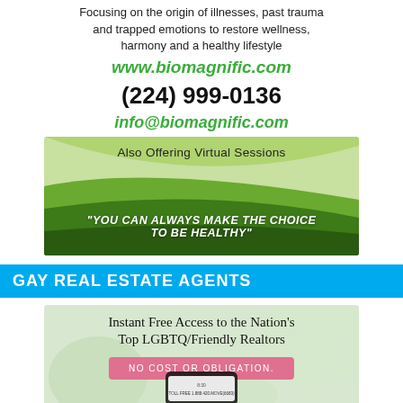Focusing on the origin of illnesses, past trauma and trapped emotions to restore wellness, harmony and a healthy lifestyle
www.biomagnific.com
(224) 999-0136
info@biomagnific.com
[Figure (illustration): Green swoosh banner with text 'Also Offering Virtual Sessions' at top and quote '"YOU CAN ALWAYS MAKE THE CHOICE TO BE HEALTHY"' in white bold italic text on dark green background]
GAY REAL ESTATE AGENTS
[Figure (illustration): Advertisement banner with blurred background showing 'Instant Free Access to the Nation's Top LGBTQ/Friendly Realtors', a pink button 'NO COST OR OBLIGATION.', and a phone showing toll free number 1.888.420.MOVE(6683)]